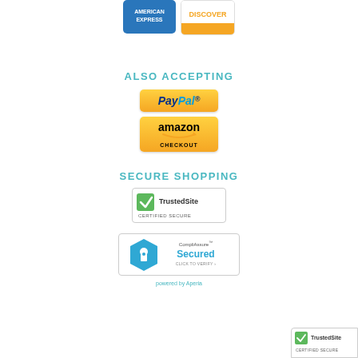[Figure (logo): American Express and Discover credit card logos side by side at top of page]
ALSO ACCEPTING
[Figure (logo): PayPal payment button logo with gold background]
[Figure (logo): Amazon Checkout payment button logo with gold background]
SECURE SHOPPING
[Figure (logo): TrustedSite Certified Secure badge]
[Figure (logo): CompliAssure Secured - Click to Verify badge]
powered by Aperia
[Figure (logo): TrustedSite Certified Secure badge in bottom right corner]